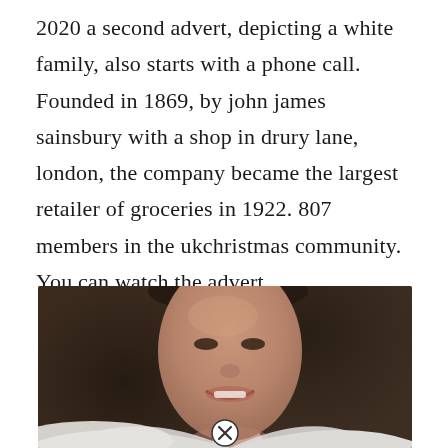2020 a second advert, depicting a white family, also starts with a phone call. Founded in 1869, by john james sainsbury with a shop in drury lane, london, the company became the largest retailer of groceries in 1922. 807 members in the ukchristmas community. You can watch the advert.
[Figure (photo): A smiling woman with dark hair, wearing a white top, photographed from roughly shoulder level up, with a close/X button overlay at the bottom center of the image.]